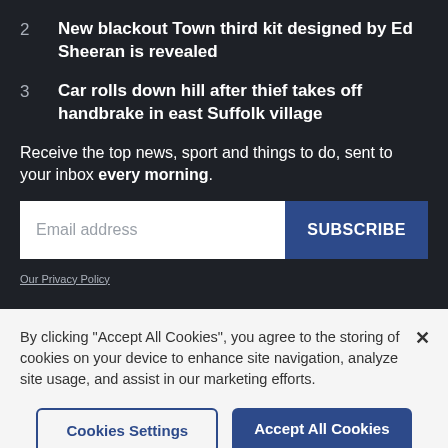2  New blackout Town third kit designed by Ed Sheeran is revealed
3  Car rolls down hill after thief takes off handbrake in east Suffolk village
Receive the top news, sport and things to do, sent to your inbox every morning.
Email address  SUBSCRIBE
Our Privacy Policy
By clicking "Accept All Cookies", you agree to the storing of cookies on your device to enhance site navigation, analyze site usage, and assist in our marketing efforts.
Cookies Settings  Accept All Cookies